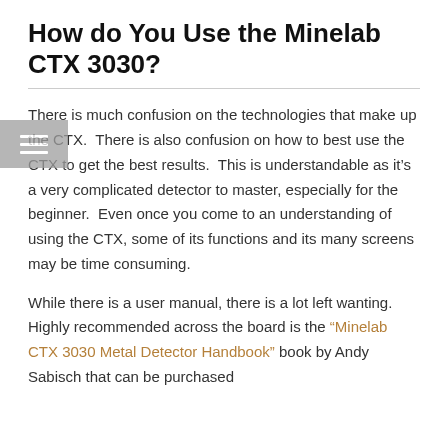How do You Use the Minelab CTX 3030?
There is much confusion on the technologies that make up the CTX.  There is also confusion on how to best use the CTX to get the best results.  This is understandable as it's a very complicated detector to master, especially for the beginner.  Even once you come to an understanding of using the CTX, some of its functions and its many screens may be time consuming.
While there is a user manual, there is a lot left wanting.  Highly recommended across the board is the “Minelab CTX 3030 Metal Detector Handbook” book by Andy Sabisch that can be purchased